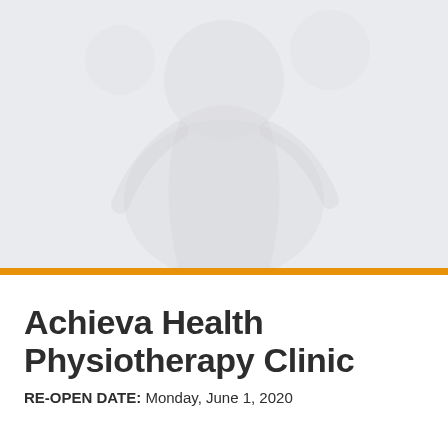[Figure (photo): Light grey background with a faint watermark/texture image of a physiotherapy or health-related scene, light and washed out]
Achieva Health Physiotherapy Clinic
RE-OPEN DATE: Monday, June 1, 2020